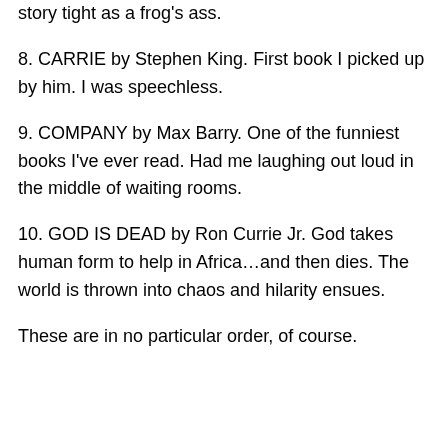story tight as a frog's ass.
8. CARRIE by Stephen King. First book I picked up by him. I was speechless.
9. COMPANY by Max Barry. One of the funniest books I've ever read. Had me laughing out loud in the middle of waiting rooms.
10. GOD IS DEAD by Ron Currie Jr. God takes human form to help in Africa…and then dies. The world is thrown into chaos and hilarity ensues.
These are in no particular order, of course.